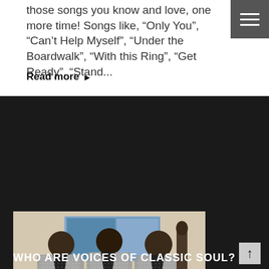those songs you know and love, one more time! Songs like, “Only You”, “Can’t Help Myself”, “Under the Boardwalk”, “With this Ring”, “Get Ready”, “Stand...”
Read more ▶
[Figure (photo): Three men in matching silver/grey sequined blazers with black lapels posing together in an interior room with artwork on the wall behind them.]
WHO ARE VOICES OF CLASSIC SOUL?